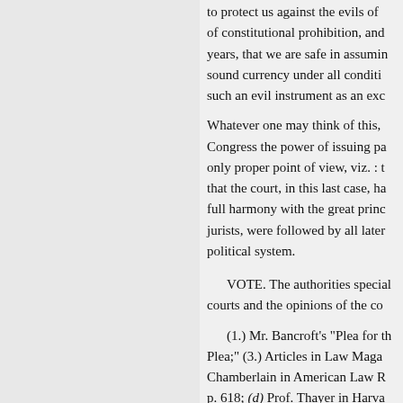to protect us against the evils of of constitutional prohibition, and years, that we are safe in assuming sound currency under all conditions such an evil instrument as an exc
Whatever one may think of this, Congress the power of issuing pa only proper point of view, viz. : t that the court, in this last case, ha full harmony with the great princ jurists, were followed by all later political system.
VOTE. The authorities specially courts and the opinions of the co
(1.) Mr. Bancroft’s “Plea for th Plea;” (3.) Articles in Law Maga Chamberlain in American Law R p. 618; (d) Prof. Thayer in Harva
Statements of arguments have be the above sources.
« Previous